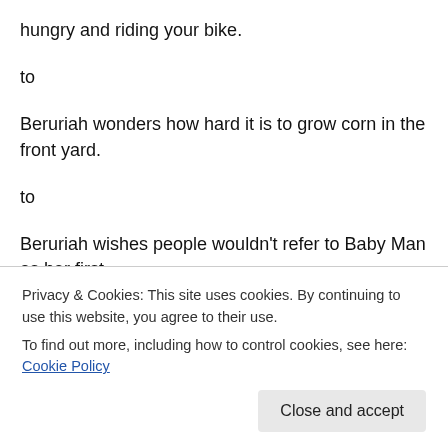hungry and riding your bike.
to
Beruriah wonders how hard it is to grow corn in the front yard.
to
Beruriah wishes people wouldn't refer to Baby Man as her first.
[Figure (other): A horizontal gradient bar transitioning from blue on the left to purple/pink on the right]
Privacy & Cookies: This site uses cookies. By continuing to use this website, you agree to their use.
To find out more, including how to control cookies, see here: Cookie Policy
Close and accept